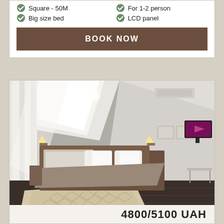Square - 50M
Big size bed
For 1-2 person
LCD panel
BOOK NOW
[Figure (photo): Hotel room interior with double bed, dark wood floors, geometric patterned rug, wall-mounted LCD TV, two framed pictures, sheer curtains, angled ceiling with recessed lighting]
4800/5100 UAH